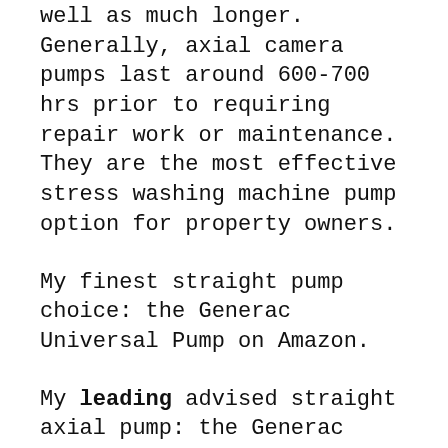well as much longer. Generally, axial camera pumps last around 600-700 hrs prior to requiring repair work or maintenance. They are the most effective stress washing machine pump option for property owners.
My finest straight pump choice: the Generac Universal Pump on Amazon.
My leading advised straight axial pump: the Generac Universal Pump readily available on Amazon.
Triplex pumps are the sturdy pumps that are favored by specialists. You'll discover these on the greater end gas stress washing machines